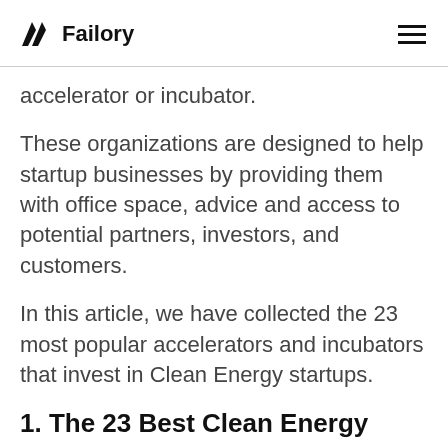Failory
accelerator or incubator.
These organizations are designed to help startup businesses by providing them with office space, advice and access to potential partners, investors, and customers.
In this article, we have collected the 23 most popular accelerators and incubators that invest in Clean Energy startups.
1. The 23 Best Clean Energy